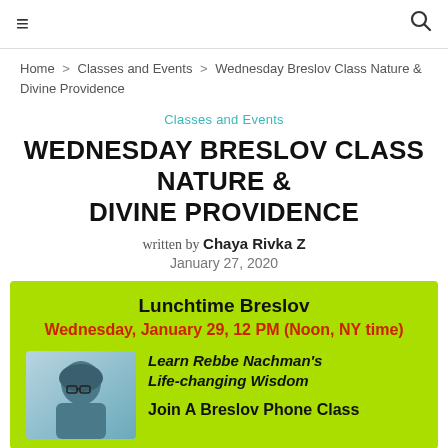≡  🔍
Home > Classes and Events > Wednesday Breslov Class Nature & Divine Providence
Classes and Events
WEDNESDAY BRESLOV CLASS NATURE & DIVINE PROVIDENCE
written by Chaya Rivka Z
January 27, 2020
[Figure (infographic): Green background promotional flyer for Lunchtime Breslov class. Title: 'Lunchtime Breslov'. Date: 'Wednesday, January 29, 12 PM (Noon, NY time)' in red. Photo of woman with glasses and head covering. Text: 'Learn Rebbe Nachman's Life-changing Wisdom' and 'Join A Breslov Phone Class']